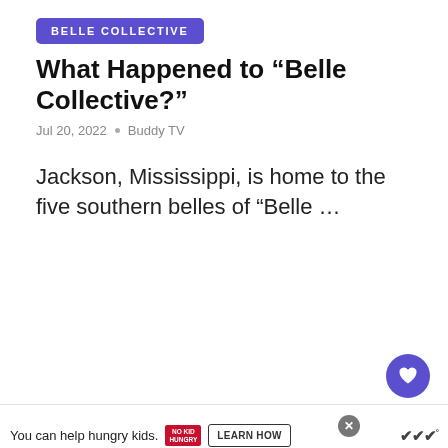BELLE COLLECTIVE
What Happened to “Belle Collective?”
Jul 20, 2022  •  Buddy TV
Jackson, Mississippi, is home to the five southern belles of “Belle …
[Figure (screenshot): Advertisement for Peacock Original 'Baking It' showing a Christmas-themed baking show with cast members and text 'Bake it ’til you make it']
[Figure (screenshot): What's Next panel showing '12 Best Sniper Movies You...']
[Figure (screenshot): Advertisement banner: 'You can help hungry kids. NO KID HUNGRY LEARN HOW']